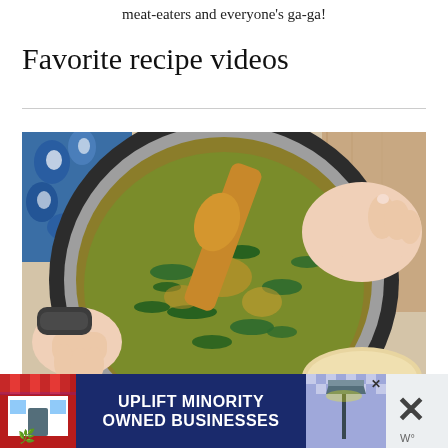meat-eaters and everyone's ga-ga!
Favorite recipe videos
[Figure (photo): Overhead view of an Instant Pot or pressure cooker containing a green lentil and spinach dish being stirred with a wooden spoon. One hand holds the pot handle on the left while another hand holds the wooden spoon on the right. A blue and white floral cloth is visible in the upper left.]
[Figure (infographic): Advertisement banner reading 'UPLIFT MINORITY OWNED BUSINESSES' in white bold text on a dark navy background. Features a stylized red store icon on the left, a lamp/streetlight icon in the center-right area with a blue checkered background, a close X button, and a second panel showing a large X and 'W°' text.]